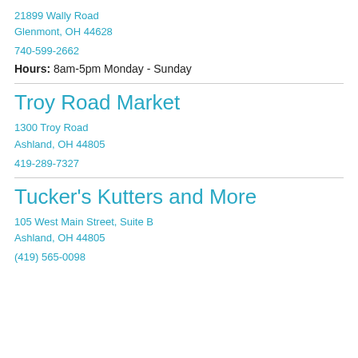21899 Wally Road
Glenmont, OH 44628
740-599-2662
Hours: 8am-5pm Monday - Sunday
Troy Road Market
1300 Troy Road
Ashland, OH 44805
419-289-7327
Tucker's Kutters and More
105 West Main Street, Suite B
Ashland, OH 44805
(419) 565-0098